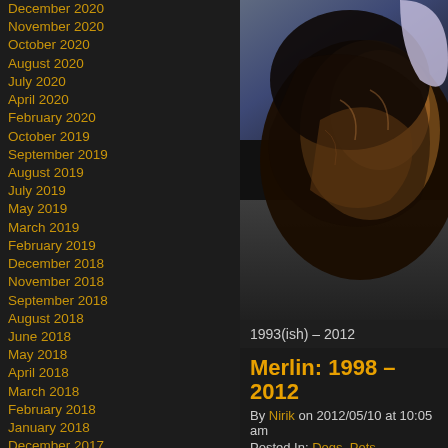December 2020
November 2020
October 2020
August 2020
July 2020
April 2020
February 2020
October 2019
September 2019
August 2019
July 2019
May 2019
March 2019
February 2019
December 2018
November 2018
September 2018
August 2018
June 2018
May 2018
April 2018
March 2018
February 2018
January 2018
December 2017
November 2017
October 2017
September 2017
August 2017
July 2017
May 2017
April 2017
March 2017
[Figure (photo): Close-up photo of a dog lying down, showing fur with black, brown and tan coloring]
1993(ish) – 2012
Merlin: 1998 – 2012
By Nirik on 2012/05/10 at 10:05 am
Posted In: Dogs, Pets